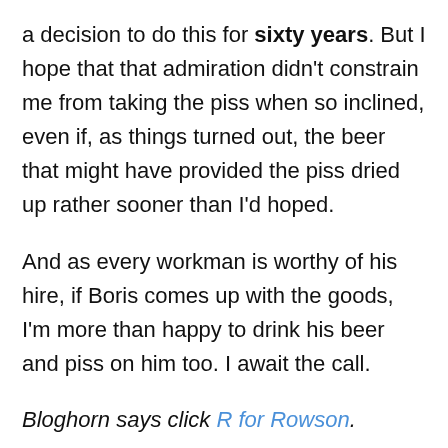a decision to do this for sixty years. But I hope that that admiration didn't constrain me from taking the piss when so inclined, even if, as things turned out, the beer that might have provided the piss dried up rather sooner than I'd hoped.
And as every workman is worthy of his hire, if Boris comes up with the goods, I'm more than happy to drink his beer and piss on him too. I await the call.
Bloghorn says click R for Rowson.